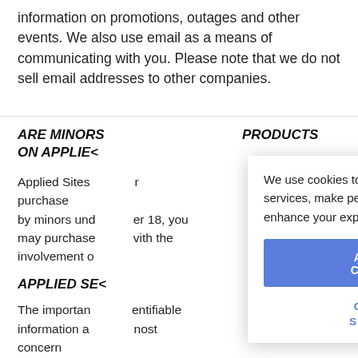information on promotions, outages and other events. We also use email as a means of communicating with you. Please note that we do not sell email addresses to other companies.
ARE MINORS WELCOME ON APPLIED SITES?
PRODUCTS
Applied Sites... r purchase by minors und... er 18, you may purchase... vith the involvement o...
APPLIED SE...
The importan... entifiable information a... nost concern to us. We wor... iformation during transm... yer (SSL) software. We... our credit
We use cookies to help improve our services, make personal offers, and enhance your experience. If you...
ACCEPT COOKIES
CUSTOM SETTINGS